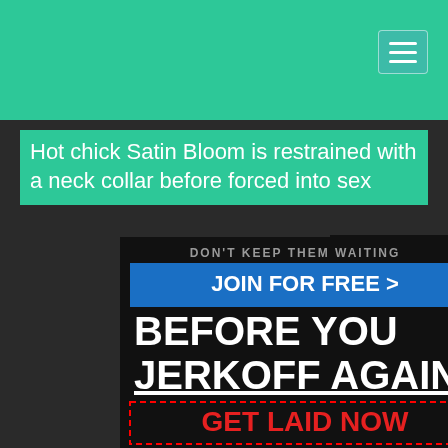Hot chick Satin Bloom is restrained with a neck collar before forced into sex
[Figure (screenshot): Advertising banner with dark background. Shows text 'DON'T KEEP THEM WAITING', a blue button 'JOIN FOR FREE >', bold white text 'BEFORE YOU JERKOFF AGAIN', and a red dashed box with 'GET LAID NOW'. Below is a photo of a young woman with brown hair smiling.]
[Figure (photo): Pile of US dollar bills stacked on dark background, visible in upper right area.]